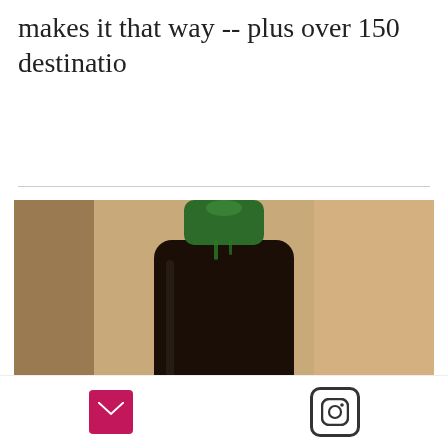makes it that way -- plus over 150 destinatio
[Figure (photo): A dark glass green-capped bottle of 'PROPER Premium Beard & Face Oil' by Tsubo, sitting among dried grass and rocks.]
Email icon and Instagram icon